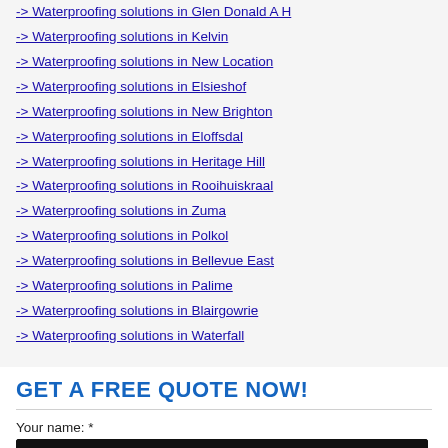-> Waterproofing solutions in Glen Donald A H
-> Waterproofing solutions in Kelvin
-> Waterproofing solutions in New Location
-> Waterproofing solutions in Elsieshof
-> Waterproofing solutions in New Brighton
-> Waterproofing solutions in Eloffsdal
-> Waterproofing solutions in Heritage Hill
-> Waterproofing solutions in Rooihuiskraal
-> Waterproofing solutions in Zuma
-> Waterproofing solutions in Polkol
-> Waterproofing solutions in Bellevue East
-> Waterproofing solutions in Palime
-> Waterproofing solutions in Blairgowrie
-> Waterproofing solutions in Waterfall
GET A FREE QUOTE NOW!
Your name: *
Your email: